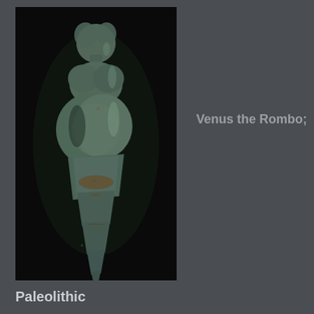[Figure (photo): Photograph of Venus the Rombo, a Paleolithic figurine. The sculpture appears to be made of greenish-grey stone or similar material, depicting a stylized female form with exaggerated torso and lower body, tapering to a point at the bottom. The figure has a rounded upper body, prominent rounded midsection, and tapers downward. Photographed against a black background.]
Venus the Rombo;
Paleolithic